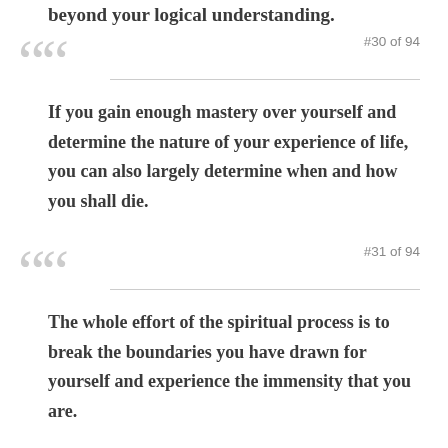beyond your logical understanding.
#30 of 94
If you gain enough mastery over yourself and determine the nature of your experience of life, you can also largely determine when and how you shall die.
#31 of 94
The whole effort of the spiritual process is to break the boundaries you have drawn for yourself and experience the immensity that you are.